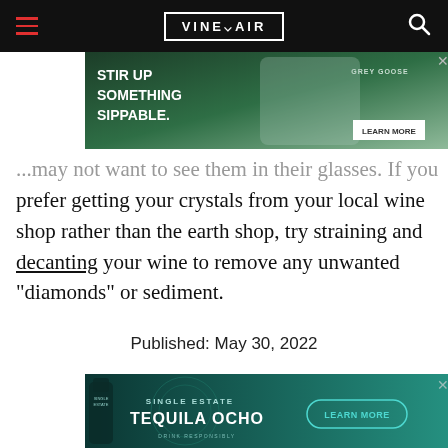VINEPAIR
[Figure (photo): Grey Goose vodka advertisement: 'Stir Up Something Sippable' with cocktail images and Grey Goose bottle]
...may not want to see them in their glasses. If you prefer getting your crystals from your local wine shop rather than the earth shop, try straining and decanting your wine to remove any unwanted “diamonds” or sediment.
Published: May 30, 2022
[Figure (photo): Tequila Ocho advertisement: 'Single Estate Tequila Ocho' with bottle image and Learn More button]